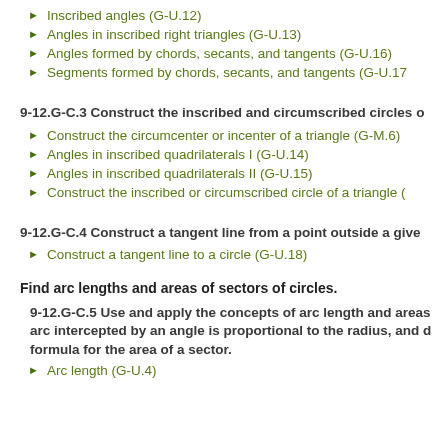Inscribed angles (G-U.12)
Angles in inscribed right triangles (G-U.13)
Angles formed by chords, secants, and tangents (G-U.16)
Segments formed by chords, secants, and tangents (G-U.17)
9-12.G-C.3 Construct the inscribed and circumscribed circles o
Construct the circumcenter or incenter of a triangle (G-M.6)
Angles in inscribed quadrilaterals I (G-U.14)
Angles in inscribed quadrilaterals II (G-U.15)
Construct the inscribed or circumscribed circle of a triangle (
9-12.G-C.4 Construct a tangent line from a point outside a give
Construct a tangent line to a circle (G-U.18)
Find arc lengths and areas of sectors of circles.
9-12.G-C.5 Use and apply the concepts of arc length and areas arc intercepted by an angle is proportional to the radius, and d formula for the area of a sector.
Arc length (G-U.4)